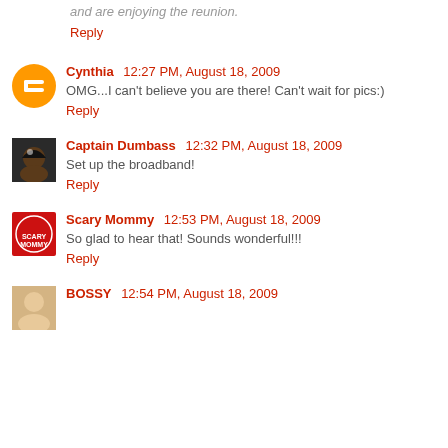and are enjoying the reunion.
Reply
Cynthia  12:27 PM, August 18, 2009
OMG...I can't believe you are there! Can't wait for pics:)
Reply
Captain Dumbass  12:32 PM, August 18, 2009
Set up the broadband!
Reply
Scary Mommy  12:53 PM, August 18, 2009
So glad to hear that! Sounds wonderful!!!
Reply
BOSSY  12:54 PM, August 18, 2009